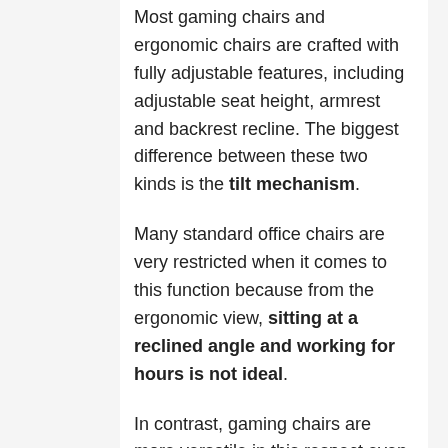Most gaming chairs and ergonomic chairs are crafted with fully adjustable features, including adjustable seat height, armrest and backrest recline. The biggest difference between these two kinds is the tilt mechanism.
Many standard office chairs are very restricted when it comes to this function because from the ergonomic view, sitting at a reclined angle and working for hours is not ideal.
In contrast, gaming chairs are more versatile in this respect even the budget one. For those who want to take a rest and relax a bit on the chair, this is an advantage of a gaming chair,